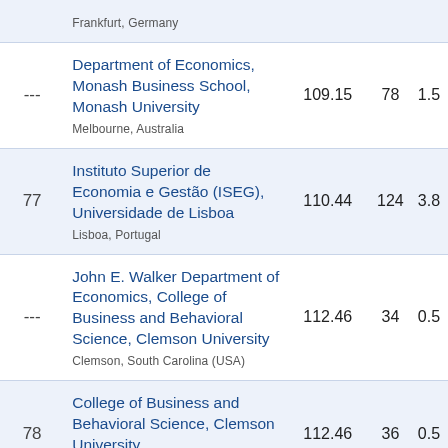| Rank | Institution | Score | Pubs |  |
| --- | --- | --- | --- | --- |
| --- | Department of Economics, Monash Business School, Monash University
Melbourne, Australia | 109.15 | 78 | 1.5 |
| 77 | Instituto Superior de Economia e Gestão (ISEG), Universidade de Lisboa
Lisboa, Portugal | 110.44 | 124 | 3.8 |
| --- | John E. Walker Department of Economics, College of Business and Behavioral Science, Clemson University
Clemson, South Carolina (USA) | 112.46 | 34 | 0.5 |
| 78 | College of Business and Behavioral Science, Clemson University
Clemson, South Carolina (USA) | 112.46 | 36 | 0.5 |
|  | Stockholm School of |  |  |  |